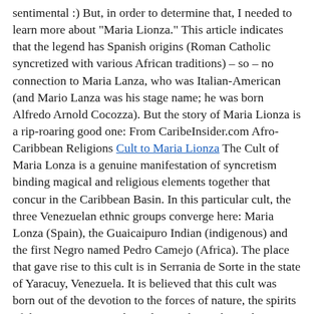sentimental :) But, in order to determine that, I needed to learn more about "Maria Lionza." This article indicates that the legend has Spanish origins (Roman Catholic syncretized with various African traditions) – so – no connection to Maria Lanza, who was Italian-American (and Mario Lanza was his stage name; he was born Alfredo Arnold Cocozza). But the story of Maria Lionza is a rip-roaring good one: From CaribeInsider.com Afro-Caribbean Religions Cult to Maria Lionza The Cult of Maria Lonza is a genuine manifestation of syncretism binding magical and religious elements together that concur in the Caribbean Basin. In this particular cult, the three Venezuelan ethnic groups converge here: Maria Lonza (Spain), the Guaicaipuro Indian (indigenous) and the first Negro named Pedro Camejo (Africa). The place that gave rise to this cult is in Serrania de Sorte in the state of Yaracuy, Venezuela. It is believed that this cult was born out of the devotion to the forces of nature, the spirits of the rivers, caves and jungles, so this makes a dramatic difference in the cult as observed in today in Venezuela, Colombia, Puerto Rico and the Dominican Republic. The remainders of indigenous practices, coupled with the spiritualism brought in the early 20th century by Allan Kardec, whipped this cult into a shape where elements come together. The legend has it that